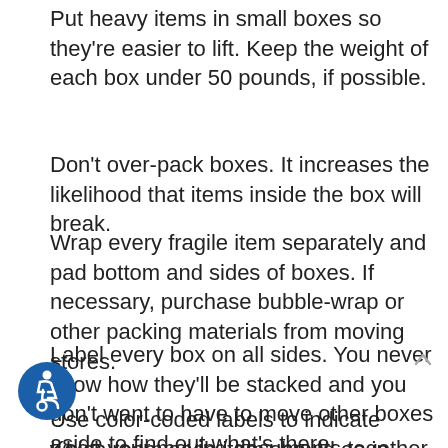Put heavy items in small boxes so they're easier to lift. Keep the weight of each box under 50 pounds, if possible.
Don't over-pack boxes. It increases the likelihood that items inside the box will break.
Wrap every fragile item separately and pad bottom and sides of boxes. If necessary, purchase bubble-wrap or other packing materials from moving stores.
Label every box on all sides. You never know how they'll be stacked and you don't want to have to move other boxes aside to find out what's there.
Use color-coded labels to indicate which room each item should go in. Color-code a floor plan for your new house to help movers.
Keep your moving documents together in a file